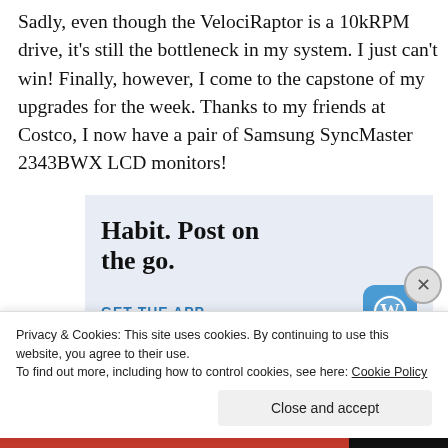Sadly, even though the VelociRaptor is a 10kRPM drive, it's still the bottleneck in my system. I just can't win! Finally, however, I come to the capstone of my upgrades for the week. Thanks to my friends at Costco, I now have a pair of Samsung SyncMaster 2343BWX LCD monitors!
[Figure (screenshot): WordPress app advertisement banner showing partial text 'Habit. Post on the go.' with 'GET THE APP' link and WordPress logo icon]
Privacy & Cookies: This site uses cookies. By continuing to use this website, you agree to their use.
To find out more, including how to control cookies, see here: Cookie Policy
Close and accept